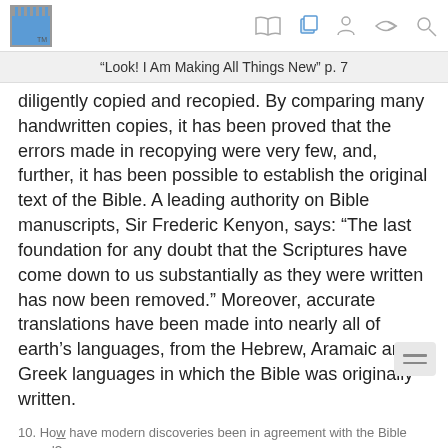“Look! I Am Making All Things New” p. 7
diligently copied and recopied. By comparing many handwritten copies, it has been proved that the errors made in recopying were very few, and, further, it has been possible to establish the original text of the Bible. A leading authority on Bible manuscripts, Sir Frederic Kenyon, says: “The last foundation for any doubt that the Scriptures have come down to us substantially as they were written has now been removed.” Moreover, accurate translations have been made into nearly all of earth’s languages, from the Hebrew, Aramaic and Greek languages in which the Bible was originally written.
10. How have modern discoveries been in agreement with the Bible record?
10. Some have tried to discredit the Bible by saying it is